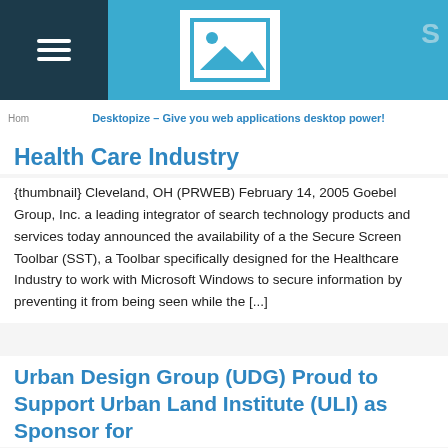[Figure (logo): Website header with dark navy navigation panel containing hamburger menu icon, blue background, white image placeholder logo box with mountain/landscape icon, and partial letter S on right]
Desktopize – Give you web applications desktop power!
Health Care Industry
{thumbnail} Cleveland, OH (PRWEB) February 14, 2005 Goebel Group, Inc. a leading integrator of search technology products and services today announced the availability of a the Secure Screen Toolbar (SST), a Toolbar specifically designed for the Healthcare Industry to work with Microsoft Windows to secure information by preventing it from being seen while the [...]
Urban Design Group (UDG) Proud to Support Urban Land Institute (ULI) as Sponsor for